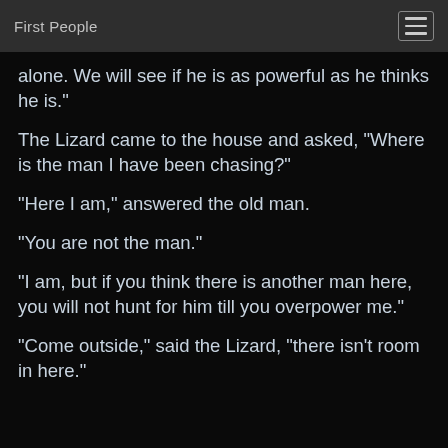First People
alone. We will see if he is as powerful as he thinks he is."
The Lizard came to the house and asked, "Where is the man I have been chasing?"
"Here I am," answered the old man.
"You are not the man."
"I am, but if you think there is another man here, you will not hunt for him till you overpower me."
"Come outside," said the Lizard, "there isn't room in here."